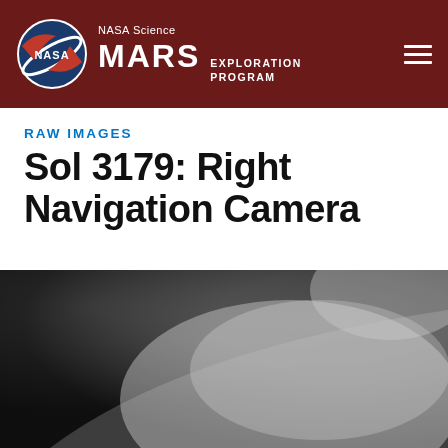NASA Science MARS EXPLORATION PROGRAM
RAW IMAGES
Sol 3179: Right Navigation Camera
[Figure (photo): Grayscale raw navigation camera image from Mars rover, showing a dark upper-left corner transitioning to lighter gray tones in the center and right, with subtle terrain features visible.]